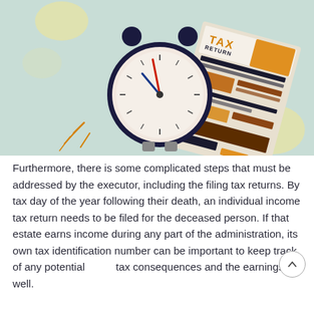[Figure (illustration): Illustration of an alarm clock and a tax return document on a light teal background with decorative blob shapes. The tax return shows TAX RETURN header in orange and black, with orange and brown form fields. The clock is dark navy blue with a red and blue hands.]
Furthermore, there is some complicated steps that must be addressed by the executor, including the filing tax returns. By tax day of the year following their death, an individual income tax return needs to be filed for the deceased person. If that estate earns income during any part of the administration, its own tax identification number can be important to keep track of any potential tax consequences and the earnings as well.